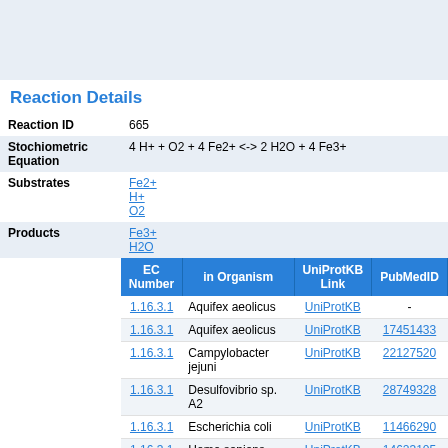Reaction Details
| Field | Value |
| --- | --- |
| Reaction ID | 665 |
| Stochiometric Equation | 4 H+ + O2 + 4 Fe2+ <-> 2 H2O + 4 Fe3+ |
| Substrates | Fe2+
H+
O2 |
| Products | Fe3+
H2O |
| EC Number | in Organism | UniProtKB Link | PubMedID |
| --- | --- | --- | --- |
| 1.16.3.1 | Aquifex aeolicus | UniProtKB | - |
| 1.16.3.1 | Aquifex aeolicus | UniProtKB | 17451433 |
| 1.16.3.1 | Campylobacter jejuni | UniProtKB | 22127520 |
| 1.16.3.1 | Desulfovibro sp. A2 | UniProtKB | 28749328 |
| 1.16.3.1 | Escherichia coli | UniProtKB | 11466290 |
| 1.16.3.1 | Homo sapiens | UniProtKB | 14623105 |
| 1.16.3.1 | Homo sapiens | UniProtKB | 5925868 |